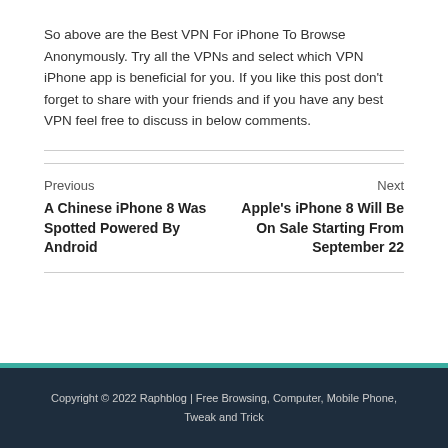So above are the Best VPN For iPhone To Browse Anonymously. Try all the VPNs and select which VPN iPhone app is beneficial for you. If you like this post don't forget to share with your friends and if you have any best VPN feel free to discuss in below comments.
Previous
A Chinese iPhone 8 Was Spotted Powered By Android
Next
Apple's iPhone 8 Will Be On Sale Starting From September 22
Copyright © 2022 Raphblog | Free Browsing, Computer, Mobile Phone, Tweak and Trick